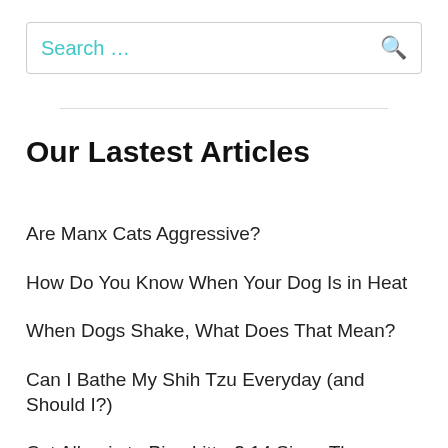[Figure (screenshot): Search input box with placeholder text 'Search ...' and a teal search icon on the right]
Our Lastest Articles
Are Manx Cats Aggressive?
How Do You Know When Your Dog Is in Heat
When Dogs Shake, What Does That Mean?
Can I Bathe My Shih Tzu Everyday (and Should I?)
Cat Allergic to Pine Litter? 14 Signs They Might Be